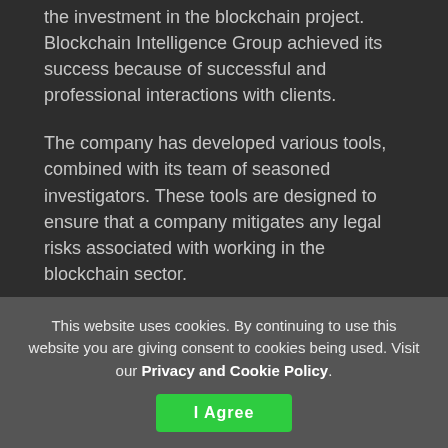the investment in the blockchain project. Blockchain Intelligence Group achieved its success because of successful and professional interactions with clients.
The company has developed various tools, combined with its team of seasoned investigators. These tools are designed to ensure that a company mitigates any legal risks associated with working in the blockchain sector.
Yellow Mango Agency
Yellow Mango is a cryptocurrency marketing
This website uses cookies. By continuing to use this website you are giving consent to cookies being used. Visit our Privacy and Cookie Policy.